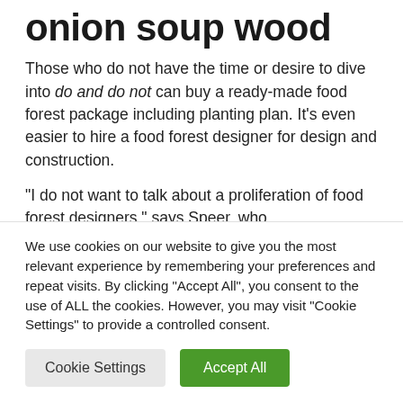onion soup wood
Those who do not have the time or desire to dive into do and do not can buy a ready-made food forest package including planting plan. It’s even easier to hire a food forest designer for design and construction.
“I do not want to talk about a proliferation of food forest designers,” says Speer, who
We use cookies on our website to give you the most relevant experience by remembering your preferences and repeat visits. By clicking “Accept All”, you consent to the use of ALL the cookies. However, you may visit "Cookie Settings" to provide a controlled consent.